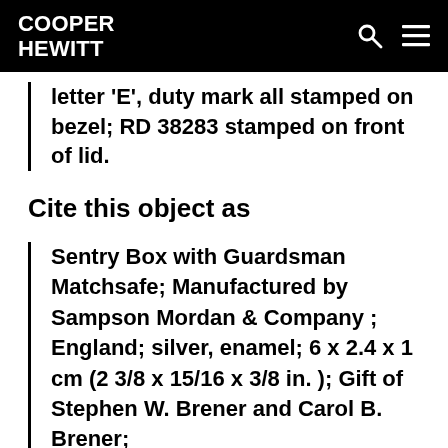COOPER HEWITT
letter 'E', duty mark all stamped on bezel; RD 38283 stamped on front of lid.
Cite this object as
Sentry Box with Guardsman Matchsafe; Manufactured by Sampson Mordan & Company ; England; silver, enamel; 6 x 2.4 x 1 cm (2 3/8 x 15/16 x 3/8 in. ); Gift of Stephen W. Brener and Carol B. Brener;